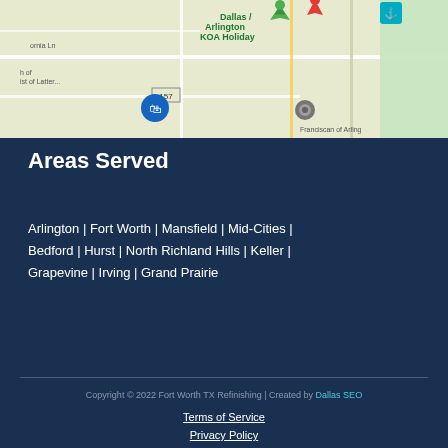[Figure (map): Google Maps view showing Arlington/Fort Worth area with streets, landmarks including Dallas/Arlington KOA Holiday, Knights of Columbus, Franciscan of Arlington, street 157, Mirabell Ct, Matlock Rd, with map pins]
Areas Served
Arlington | Fort Worth | Mansfield | Mid-Cities | Bedford | Hurst | North Richland Hills | Keller | Grapevine | Irving | Grand Prairie
Copyright © 2022 Fort Worth TX Refinishing | Created by Dallas SEO
Terms of Service
Privacy Policy